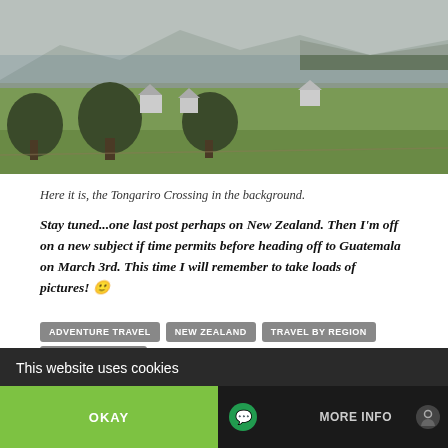[Figure (photo): Landscape photo showing a town with green hills, trees, and mountains with a lake or sea in the background, the Tongariro Crossing area in New Zealand]
Here it is, the Tongariro Crossing in the background.
Stay tuned...one last post perhaps on New Zealand. Then I'm off on a new subject if time permits before heading off to Guatemala on March 3rd. This time I will remember to take loads of pictures! 🙂
ADVENTURE TRAVEL
NEW ZEALAND
TRAVEL BY REGION
TREKKING/HIKING
This website uses cookies | OKAY | MORE INFO